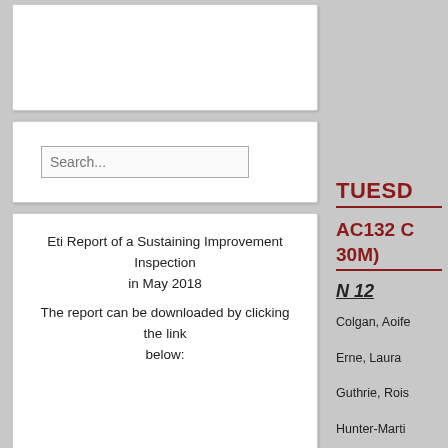[Figure (other): Empty white box at top of left column]
Search...
Eti Report of a Sustaining Improvement Inspection in May 2018
The report can be downloaded by clicking the link below:
Here
TUESD
AC132 C 30M)
N 12
Colgan, Aoife
Erne, Laura
Guthrie, Rois
Hunter-Martin